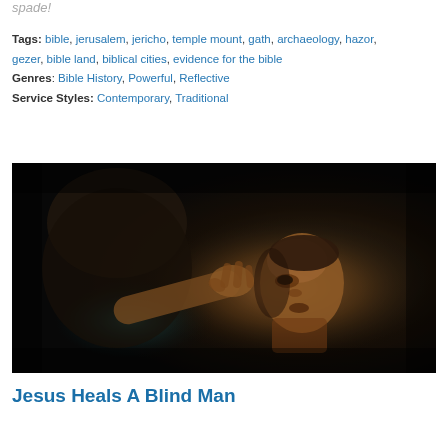spade!
Tags: bible, jerusalem, jericho, temple mount, gath, archaeology, hazor, gezer, bible land, biblical cities, evidence for the bible
Genres: Bible History, Powerful, Reflective
Service Styles: Contemporary, Traditional
[Figure (photo): Dark-toned dramatic photo of a man looking upward with another figure's hand raised near his eye, suggesting a healing scene.]
Jesus Heals A Blind Man